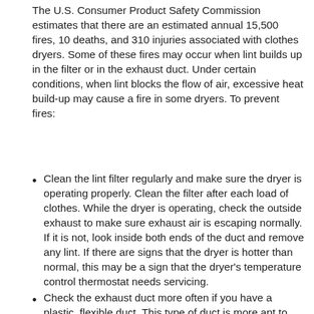The U.S. Consumer Product Safety Commission estimates that there are an estimated annual 15,500 fires, 10 deaths, and 310 injuries associated with clothes dryers. Some of these fires may occur when lint builds up in the filter or in the exhaust duct. Under certain conditions, when lint blocks the flow of air, excessive heat build-up may cause a fire in some dryers. To prevent fires:
Clean the lint filter regularly and make sure the dryer is operating properly. Clean the filter after each load of clothes. While the dryer is operating, check the outside exhaust to make sure exhaust air is escaping normally. If it is not, look inside both ends of the duct and remove any lint. If there are signs that the dryer is hotter than normal, this may be a sign that the dryer's temperature control thermostat needs servicing.
Check the exhaust duct more often if you have a plastic, flexible duct. This type of duct is more apt to trap lint than ducting without ridges.